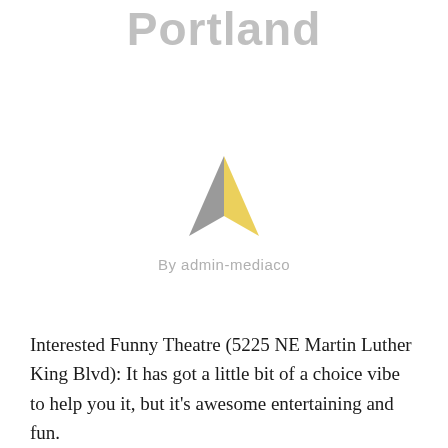Portland
[Figure (logo): A triangular arrow logo with grey left side and yellow right side, pointing upward and right. Below it reads 'By admin-mediaco' in grey text.]
Interested Funny Theatre (5225 NE Martin Luther King Blvd): It has got a little bit of a choice vibe to help you it, but it's awesome entertaining and fun.